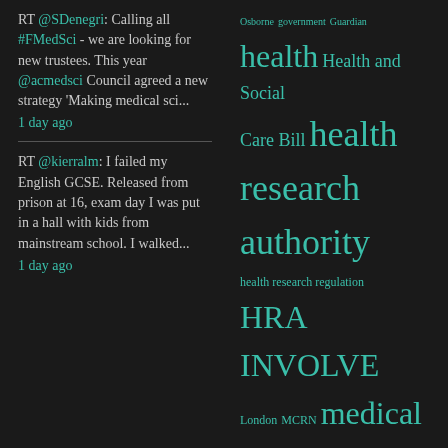RT @SDenegri: Calling all #FMedSci - we are looking for new trustees. This year @acmedsci Council agreed a new strategy 'Making medical sci...
1 day ago
RT @kierralm: I failed my English GCSE. Released from prison at 16, exam day I was put in a hall with kids from mainstream school. I walked...
1 day ago
[Figure (infographic): Tag cloud with medical research related terms in teal/cyan color on dark background. Terms include: Osborne, government, Guardian, health, Health and Social Care Bill, health research authority, health research regulation, HRA, INVOLVE, London, MCRN, medical research, medical research charities, Medical Research Council, Medicines for children research network, MRC, National Health Service, National]